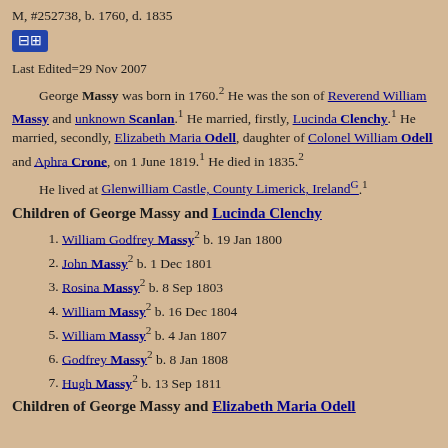M, #252738, b. 1760, d. 1835
[Figure (other): Blue icon button with hierarchy/tree symbol]
Last Edited=29 Nov 2007
George Massy was born in 1760.2 He was the son of Reverend William Massy and unknown Scanlan.1 He married, firstly, Lucinda Clenchy.1 He married, secondly, Elizabeth Maria Odell, daughter of Colonel William Odell and Aphra Crone, on 1 June 1819.1 He died in 1835.2
    He lived at Glenwilliam Castle, County Limerick, IrelandG.1
Children of George Massy and Lucinda Clenchy
1. William Godfrey Massy2 b. 19 Jan 1800
2. John Massy2 b. 1 Dec 1801
3. Rosina Massy2 b. 8 Sep 1803
4. William Massy2 b. 16 Dec 1804
5. William Massy2 b. 4 Jan 1807
6. Godfrey Massy2 b. 8 Jan 1808
7. Hugh Massy2 b. 13 Sep 1811
Children of George Massy and Elizabeth Maria Odell